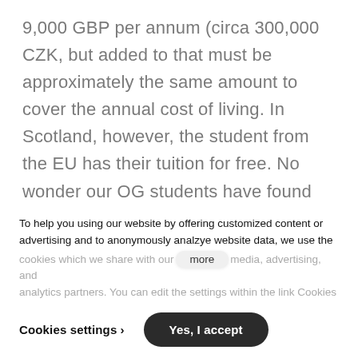9,000 GBP per annum (circa 300,000 CZK, but added to that must be approximately the same amount to cover the annual cost of living. In Scotland, however, the student from the EU has their tuition for free. No wonder our OG students have found Scotland to be an attractive choice. Financial outlay then only for cost of living. The regular bachelor Degree courses in Scotland take four years to complete, with an additional year added on for Masters. Five years in total.
To help you using our website by offering customized content or advertising and to anonymously analzye website data, we use the cookies which we share with our social media, advertising, and analytics partners. You can edit the settings within the link Cookies
Cookies settings >
Yes, I accept